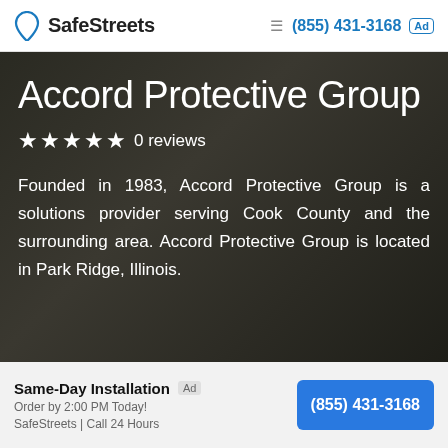SafeStreets   ≡ (855) 431-3168 [Ad]
Accord Protective Group
★★★★★ 0 reviews
Founded in 1983, Accord Protective Group is a solutions provider serving Cook County and the surrounding area. Accord Protective Group is located in Park Ridge, Illinois.
Same-Day Installation  Ad
Order by 2:00 PM Today!
SafeStreets | Call 24 Hours
(855) 431-3168